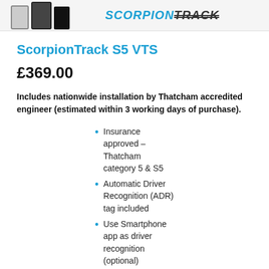[Figure (photo): Header showing smartphone devices and ScorpionTrack logo/branding]
ScorpionTrack S5 VTS
£369.00
Includes nationwide installation by Thatcham accredited engineer (estimated within 3 working days of purchase).
Insurance approved – Thatcham category 5 & S5
Automatic Driver Recognition (ADR) tag included
Use Smartphone app as driver recognition (optional)